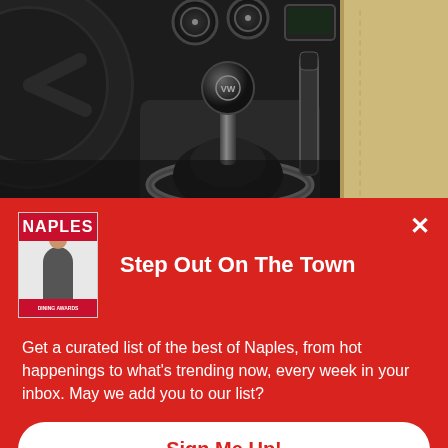[Figure (photo): Car interior showing gear shift knob in center console, steering wheel on left, dashboard dials at top, handbrake on right, and beige leather seat visible on far right]
Step Out On The Town
Get a curated list of the best of Naples, from hot happenings to what's trending now, every week in your inbox. May we add you to our list?
Sign Me Up!